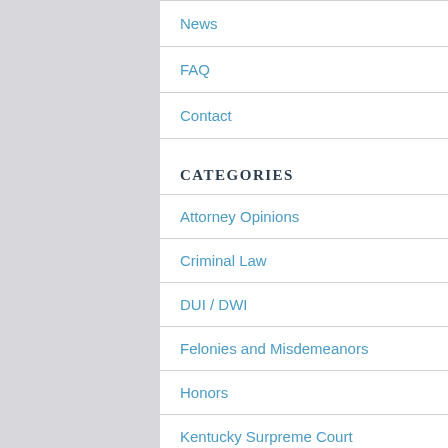News
FAQ
Contact
CATEGORIES
Attorney Opinions
Criminal Law
DUI / DWI
Felonies and Misdemeanors
Honors
Kentucky Surpreme Court
Law Updates
Legal Questions